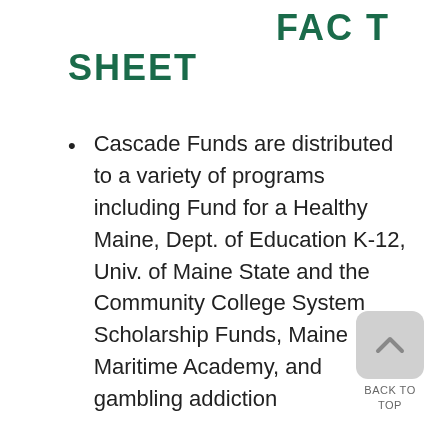FACT SHEET
Cascade Funds are distributed to a variety of programs including Fund for a Healthy Maine, Dept. of Education K-12, Univ. of Maine State and the Community College System Scholarship Funds, Maine Maritime Academy, and gambling addiction